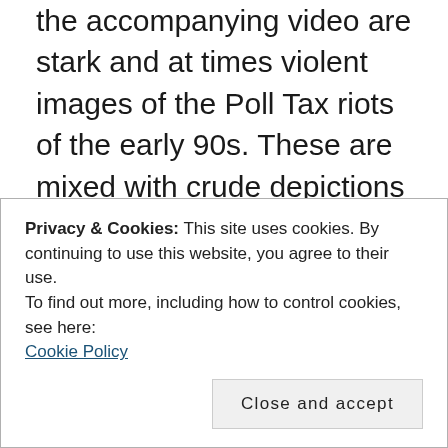the accompanying video are stark and at times violent images of the Poll Tax riots of the early 90s. These are mixed with crude depictions of the band which bring welcome relief to the seriousness of the message. The vocal delivery of the lyrics are immediate and at times tongue in cheek. The refrain of “all politics is chauvinism, and all chauvinism is politics” is both controversial and fucking true!
According to the band they spent roughly two minutes writing, but two hundred hours perfecting
Privacy & Cookies: This site uses cookies. By continuing to use this website, you agree to their use.
To find out more, including how to control cookies, see here: Cookie Policy
Close and accept